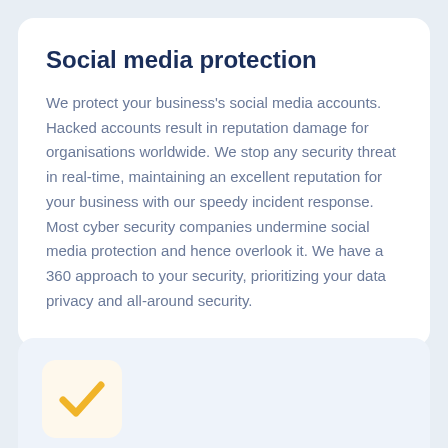Social media protection
We protect your business's social media accounts. Hacked accounts result in reputation damage for organisations worldwide. We stop any security threat in real-time, maintaining an excellent reputation for your business with our speedy incident response. Most cyber security companies undermine social media protection and hence overlook it. We have a 360 approach to your security, prioritizing your data privacy and all-around security.
[Figure (illustration): A rounded square icon with a warm yellow/orange background containing a yellow checkmark symbol]